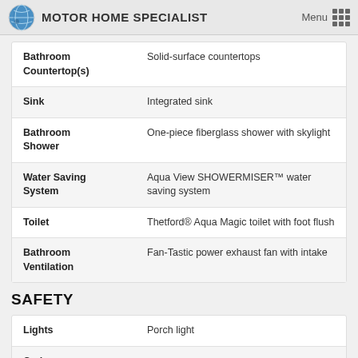MOTOR HOME SPECIALIST
| Feature | Description |
| --- | --- |
| Bathroom Countertop(s) | Solid-surface countertops |
| Sink | Integrated sink |
| Bathroom Shower | One-piece fiberglass shower with skylight |
| Water Saving System | Aqua View SHOWERMISER™ water saving system |
| Toilet | Thetford® Aqua Magic toilet with foot flush |
| Bathroom Ventilation | Fan-Tastic power exhaust fan with intake |
SAFETY
| Feature | Description |
| --- | --- |
| Lights | Porch light |
| Carbon |  |